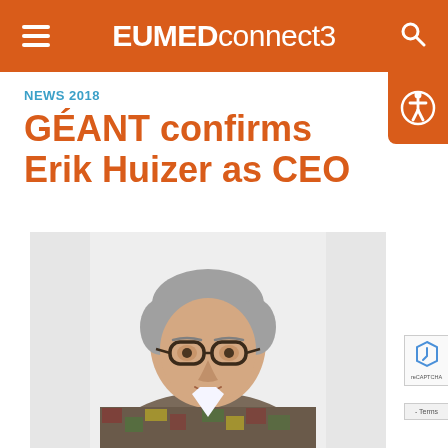EUMEDconnect3
NEWS 2018
GÉANT confirms Erik Huizer as CEO
[Figure (photo): Portrait photo of Erik Huizer, a middle-aged man with grey hair, wearing dark-rimmed glasses and a colourful patterned blazer over a white shirt, photographed against a white background.]